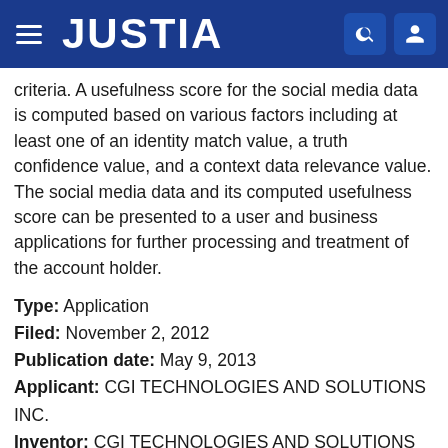JUSTIA
criteria. A usefulness score for the social media data is computed based on various factors including at least one of an identity match value, a truth confidence value, and a context data relevance value. The social media data and its computed usefulness score can be presented to a user and business applications for further processing and treatment of the account holder.
Type: Application
Filed: November 2, 2012
Publication date: May 9, 2013
Applicant: CGI TECHNOLOGIES AND SOLUTIONS INC.
Inventor: CGI TECHNOLOGIES AND SOLUTIONS INC.
FORENSIC INDEX METHOD AND APPARATUS BY DISTRIBUTED PROCESSING
Publication number: 20130117273